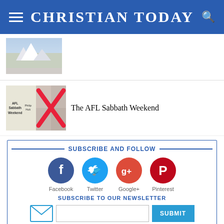CHRISTIAN TODAY
[Figure (photo): Snow mountain landscape thumbnail image]
[Figure (illustration): AFL Sabbath Weekend book cover with red X overlay]
The AFL Sabbath Weekend
SUBSCRIBE AND FOLLOW
[Figure (infographic): Social media icons: Facebook (dark blue), Twitter (light blue), Google+ (red-orange), Pinterest (dark red) with labels below]
SUBSCRIBE TO OUR NEWSLETTER
[Figure (infographic): Email envelope icon with newsletter signup input field and SUBMIT button]
HOT NEWS